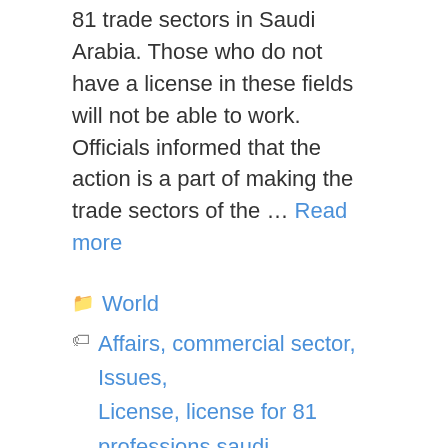81 trade sectors in Saudi Arabia. Those who do not have a license in these fields will not be able to work. Officials informed that the action is a part of making the trade sectors of the … Read more
World
Affairs, commercial sector, Issues, License, license for 81 professions saudi, Malayalam, Ministry, Municipal, municipal and rural affairs saudi, News, professions, Rural, Saudi, Saudi News, saudi news in malayalam, saudi news in malayalam today, saudi news malayalam, saudi news malayalam today
Leave a comment